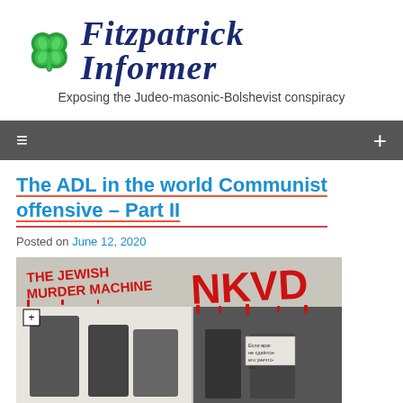Fitzpatrick Informer — Exposing the Judeo-masonic-Bolshevist conspiracy
The ADL in the world Communist offensive – Part II
Posted on June 12, 2020
[Figure (photo): Book cover image with red graffiti-style text reading 'THE JEWISH MURDER MACHINE NKVD' over black and white images]